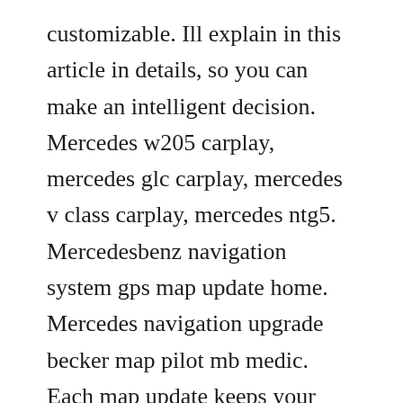customizable. Ill explain in this article in details, so you can make an intelligent decision. Mercedes w205 carplay, mercedes glc carplay, mercedes v class carplay, mercedes ntg5. Mercedesbenz navigation system gps map update home. Mercedes navigation upgrade becker map pilot mb medic. Each map update keeps your system operating at peak performance with essential data including new and modified roads, addresses, signage, points of interest, and much more. It updates the system to the latest navigation 20 specification and updates the